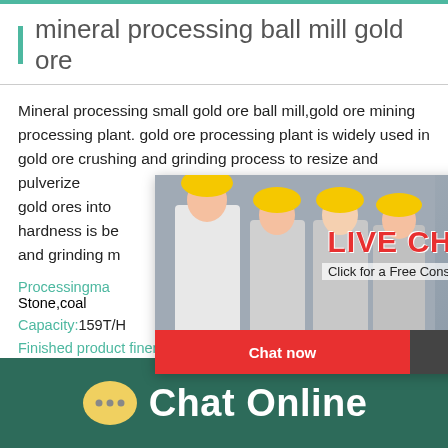mineral processing ball mill gold ore
Mineral processing small gold ore ball mill,gold ore mining processing plant. gold ore processing plant is widely used in gold ore crushing and grinding process to resize and pulverize gold ores into s vhn hardness is be and grinding m
Processingma Stone,coal
Capacity:159T/H
Finished product fineness:0-10mm、10-20mm
[Figure (screenshot): Live chat popup overlay with workers in yellow helmets, LIVE CHAT heading in red, Click for a Free Consultation text, Chat now and Chat later buttons]
[Figure (screenshot): Right side widget showing hour online text, industrial cone crusher machine image, and Click me to chat>> button on blue background]
Chat Online